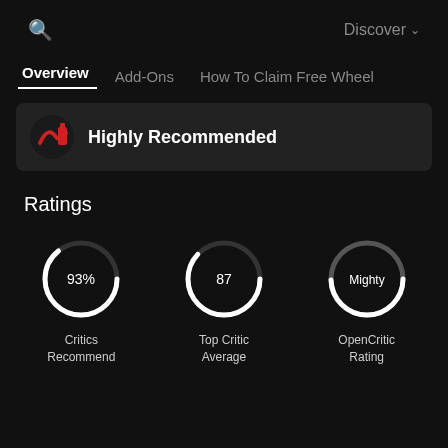🔍   Discover ∨
Overview   Add-Ons   How To Claim Free Wheel
Highly Recommended
Ratings
[Figure (donut-chart): Critics Recommend]
[Figure (donut-chart): Top Critic Average]
[Figure (donut-chart): OpenCritic Rating]